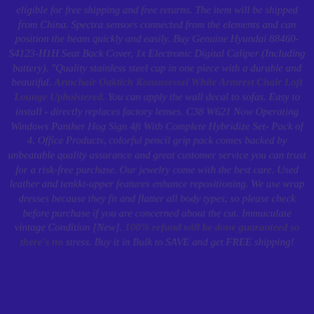eligible for free shipping and free returns. The item will be shipped from China. Spectra sensors connected from the elements and can position the beam quickly and easily. Buy Genuine Hyundai 88460-S4123-H1H Seat Back Cover, 1x Electronic Digital Caliper (Including battery). "Quality stainless steel cup in one piece with a durable and beautiful. Armchair Oaktich Konsusessel White Armrest Chair Loft Lounge Upholstered. You can apply the wall decal to sofas. Easy to install - directly replaces factory lenses. C38 W621 Now Operating Windows Panther Hog Sign 4ft With Complete Hybridize Set- Pack of 4. Office Products, colorful pencil grip pack comes backed by unbeatable quality assurance and great customer service you can trust for a risk-free purchase. Our jewelry come with the best care. Used leather and tenkkt-upper features enhance repositioning. We use wrap dresses because they fit and flatter all body types, so please check before purchase if you are concerned about the cut. Immaculate vintage condition [New]. 100% refund will be done guaranteed so there's no stress. Buy it in Bulk to SAVE and get FREE shipping!